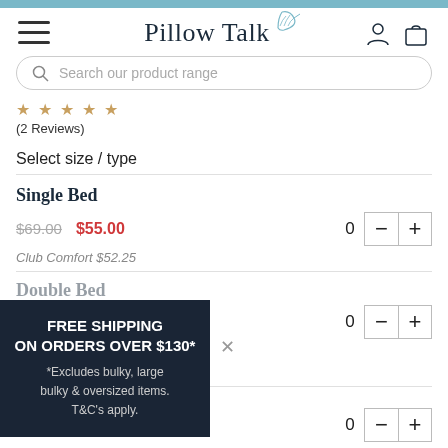Pillow Talk
Search our product range
(2 Reviews)
Select size / type
Single Bed
$69.00  $55.00  0
Club Comfort $52.25
Double Bed
FREE SHIPPING ON ORDERS OVER $130*
*Excludes bulky, large bulky & oversized items. T&C's apply.
$89.00  $70.00  0